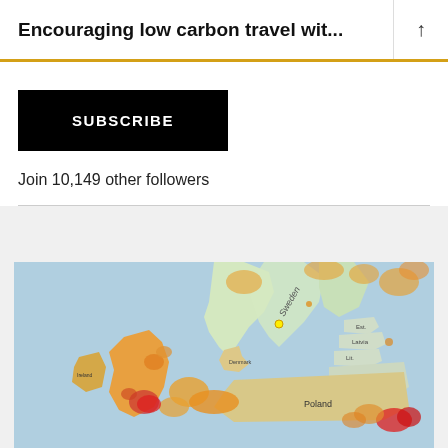Encouraging low carbon travel wit...
SUBSCRIBE
Join 10,149 other followers
[Figure (map): Map of Europe showing population density or pollution data with color coding: blue for low, orange/yellow for medium, and red for high values. Countries visible include Sweden, Denmark, Poland, Belarus, Estonia, Latvia, Lithuania, Ireland, and UK.]